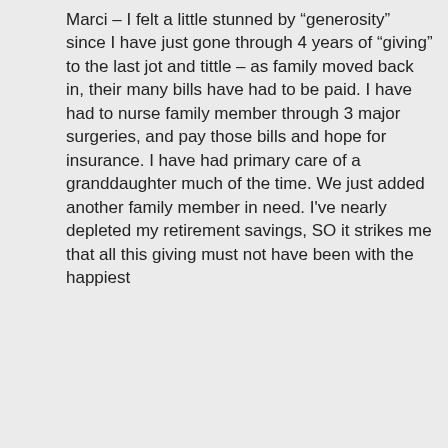Marci – I felt a little stunned by “generosity” since I have just gone through 4 years of “giving” to the last jot and tittle – as family moved back in, their many bills have had to be paid. I have had to nurse family member through 3 major surgeries, and pay those bills and hope for insurance. I have had primary care of a granddaughter much of the time. We just added another family member in need. I've nearly depleted my retirement savings, SO it strikes me that all this giving must not have been with the happiest